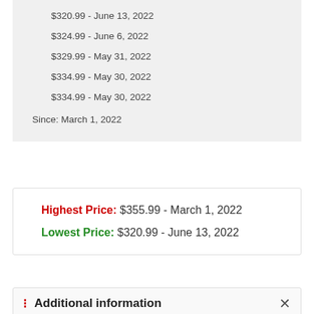$320.99 - June 13, 2022
$324.99 - June 6, 2022
$329.99 - May 31, 2022
$334.99 - May 30, 2022
$334.99 - May 30, 2022
Since: March 1, 2022
Highest Price: $355.99 - March 1, 2022
Lowest Price: $320.99 - June 13, 2022
Additional information